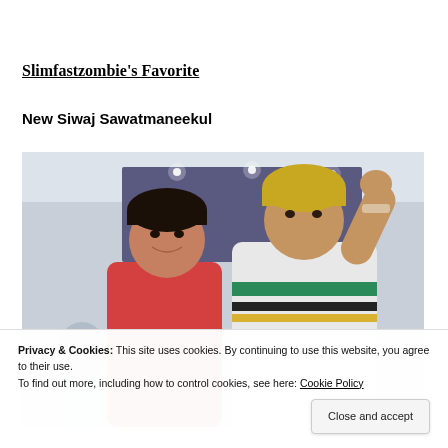Slimfastzombie's Favorite
New Siwaj Sawatmaneekul
[Figure (photo): Two young men posing together in front of a purple backdrop. The person on the left has dark hair and wears a red hoodie. The person on the right has blonde hair, wears a green and white striped shirt, and raises a fist in the air.]
Privacy & Cookies: This site uses cookies. By continuing to use this website, you agree to their use.
To find out more, including how to control cookies, see here: Cookie Policy
Close and accept